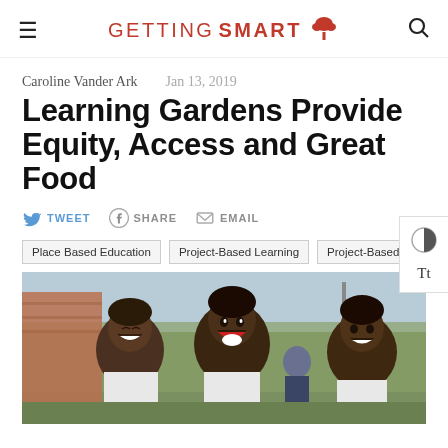GETTING SMART
Caroline Vander Ark   Jan 13, 2019
Learning Gardens Provide Equity, Access and Great Food
TWEET   SHARE   EMAIL
Place Based Education
Project-Based Learning
Project-Based
[Figure (photo): Three smiling young Black children laughing outdoors, wearing white shirts, with trees and a brick building in the background]